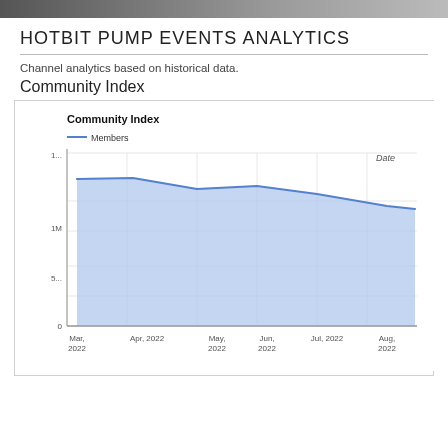HOTBIT PUMP EVENTS ANALYTICS
Channel analytics based on historical data.
Community Index
[Figure (area-chart): Community Index]